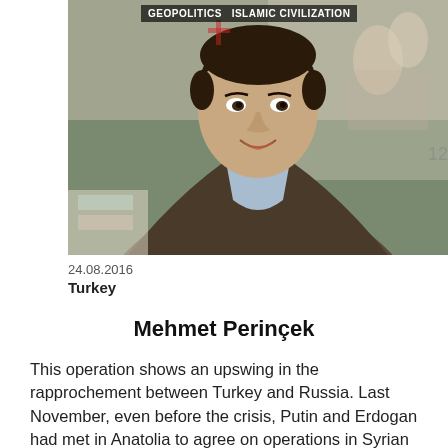[Figure (photo): Portrait photo of a smiling man in a brown blazer and light blue shirt, seated at what appears to be a book fair or event, with people visible in the background.]
GEOPOLITICS   ISLAMIC CIVILIZATION
24.08.2016
Turkey
Mehmet Perinçek
This operation shows an upswing in the rapprochement between Turkey and Russia. Last November, even before the crisis, Putin and Erdogan had met in Anatolia to agree on operations in Syrian Jarabulus. But after the Gulenists shot down the Russian plane, the arrangement lost its force. We know that the US wants to open a Kurdish corridor from Northern Iraq to the Mediterranean Sea. For this purpose,